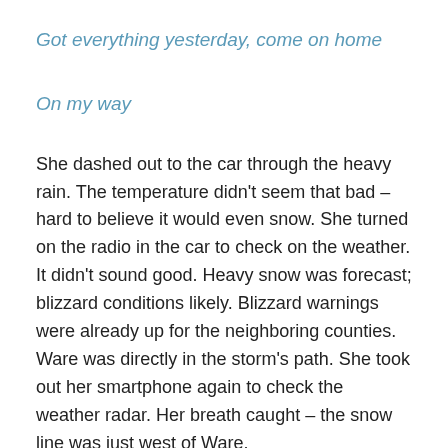Got everything yesterday, come on home
On my way
She dashed out to the car through the heavy rain. The temperature didn't seem that bad – hard to believe it would even snow. She turned on the radio in the car to check on the weather. It didn't sound good. Heavy snow was forecast; blizzard conditions likely. Blizzard warnings were already up for the neighboring counties. Ware was directly in the storm's path. She took out her smartphone again to check the weather radar. Her breath caught – the snow line was just west of Ware.
She took a deep breath and backed out of her